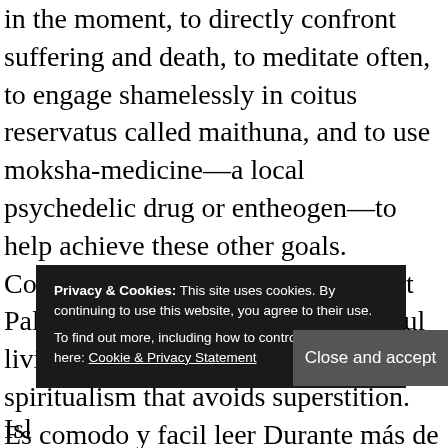in the moment, to directly confront suffering and death, to meditate often, to engage shamelessly in coitus reservatus called maithuna, and to use moksha-medicine—a local psychedelic drug or entheogen—to help achieve these other goals. Contrary to these philosophies, most Palanese islanders engage in peaceful living, intellectual pursuits, and deep spiritualism that avoids superstition. Es comodo y facil leer Durante más de cien años, la isla del Pacifico de Pala ha sido el escenario de un experimento único en la civilización. Island PDF DESCARGA Durante más de cien años, la isla del Pacifico de Pala ha sido el escenario de un experimento único en la civilización. This talk really has it in it, the Amanita m su ca
Privacy & Cookies: This site uses cookies. By continuing to use this website, you agree to their use.
To find out more, including how to control cookies, see here: Cookie & Privacy Statement
Close and accept
Isl
interested I had an in the past. WorldWar I clap does and show